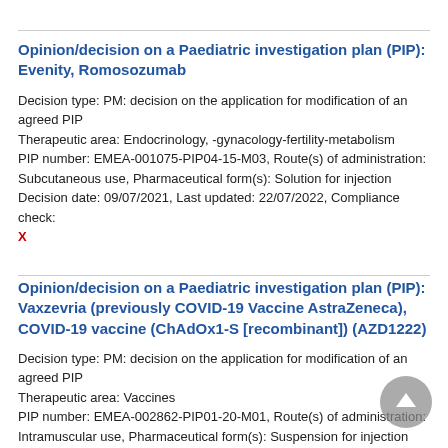Opinion/decision on a Paediatric investigation plan (PIP): Evenity, Romosozumab
Decision type: PM: decision on the application for modification of an agreed PIP
Therapeutic area: Endocrinology, -gynacology-fertility-metabolism
PIP number: EMEA-001075-PIP04-15-M03, Route(s) of administration: Subcutaneous use, Pharmaceutical form(s): Solution for injection
Decision date: 09/07/2021, Last updated: 22/07/2022, Compliance check: X
Opinion/decision on a Paediatric investigation plan (PIP): Vaxzevria (previously COVID-19 Vaccine AstraZeneca), COVID-19 vaccine (ChAdOx1-S [recombinant]) (AZD1222)
Decision type: PM: decision on the application for modification of an agreed PIP
Therapeutic area: Vaccines
PIP number: EMEA-002862-PIP01-20-M01, Route(s) of administration: Intramuscular use, Pharmaceutical form(s): Suspension for injection
Decision date: 07/07/2021, Last updated: 18/07/2022, Compliance check: X